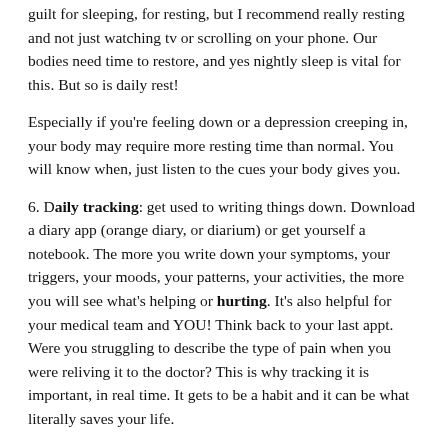guilt for sleeping, for resting, but I recommend really resting and not just watching tv or scrolling on your phone. Our bodies need time to restore, and yes nightly sleep is vital for this. But so is daily rest!
Especially if you’re feeling down or a depression creeping in, your body may require more resting time than normal. You will know when, just listen to the cues your body gives you.
6. Daily tracking: get used to writing things down. Download a diary app (orange diary, or diarium) or get yourself a notebook. The more you write down your symptoms, your triggers, your moods, your patterns, your activities, the more you will see what’s helping or hurting. It’s also helpful for your medical team and YOU! Think back to your last appt. Were you struggling to describe the type of pain when you were reliving it to the doctor? This is why tracking it is important, in real time. It gets to be a habit and it can be what literally saves your life.
7. What brings you joy? You guys, I can’t stress this question enough, I